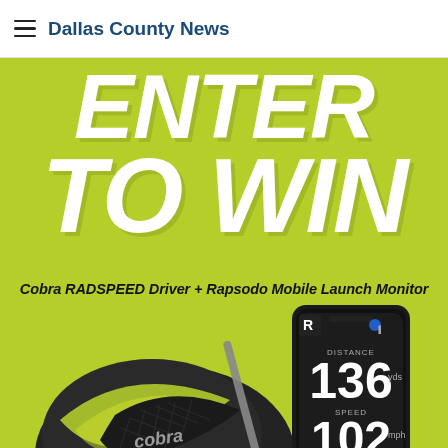Dallas County News
[Figure (infographic): Promotional giveaway banner with lime green background, large white bold italic text 'ENTER TO WIN', subtitle 'Cobra RADSPEED Driver + Rapsodo Mobile Launch Monitor', with product images of a cobra golf driver and a smartphone launch monitor showing distance 136, speed 102, launch angle 24.2°]